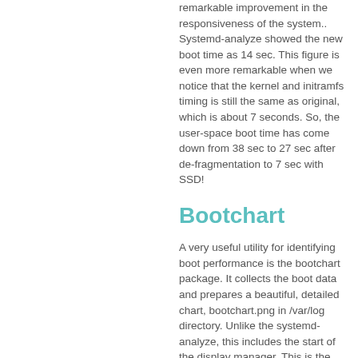remarkable improvement in the responsiveness of the system.. Systemd-analyze showed the new boot time as 14 sec. This figure is even more remarkable when we notice that the kernel and initramfs timing is still the same as original, which is about 7 seconds. So, the user-space boot time has come down from 38 sec to 27 sec after de-fragmentation to 7 sec with SSD!
Bootchart
A very useful utility for identifying boot performance is the bootchart package. It collects the boot data and prepares a beautiful, detailed chart, bootchart.png in /var/log directory. Unlike the systemd-analyze, this includes the start of the display manager. This is the time that matters to the user. With SSD, bootchart gives the time as 26 sec when the login screen is ready. The corresponding timing for SATA